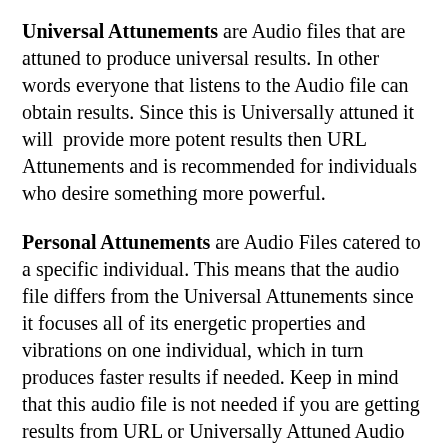Universal Attunements are Audio files that are attuned to produce universal results. In other words everyone that listens to the Audio file can obtain results. Since this is Universally attuned it will provide more potent results then URL Attunements and is recommended for individuals who desire something more powerful.
Personal Attunements are Audio Files catered to a specific individual. This means that the audio file differs from the Universal Attunements since it focuses all of its energetic properties and vibrations on one individual, which in turn produces faster results if needed. Keep in mind that this audio file is not needed if you are getting results from URL or Universally Attuned Audio Files
Karmic Attunements are also catered to a